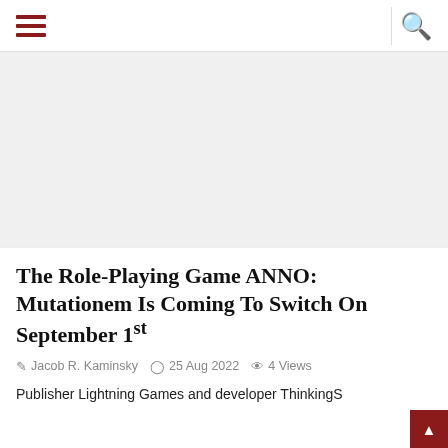Navigation menu and search icon
[Figure (other): Advertisement/placeholder area, light gray background]
The Role-Playing Game ANNO: Mutationem Is Coming To Switch On September 1st
Jacob R. Kaminsky  25 Aug 2022  4 Views
Publisher Lightning Games and developer ThinkingS